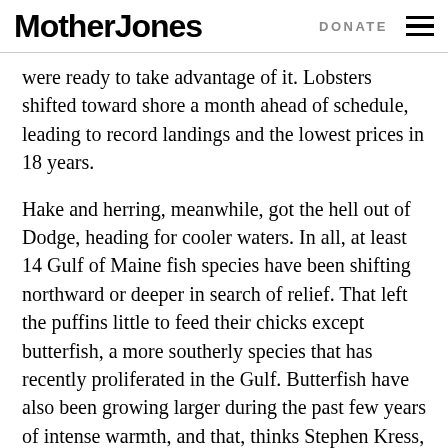Mother Jones | DONATE
were ready to take advantage of it. Lobsters shifted toward shore a month ahead of schedule, leading to record landings and the lowest prices in 18 years.
Hake and herring, meanwhile, got the hell out of Dodge, heading for cooler waters. In all, at least 14 Gulf of Maine fish species have been shifting northward or deeper in search of relief. That left the puffins little to feed their chicks except butterfish, a more southerly species that has recently proliferated in the Gulf. Butterfish have also been growing larger during the past few years of intense warmth, and that, thinks Stephen Kress, might be a key. “Fish start growing in response to changes in water temperature and food,” he says. “The earlier